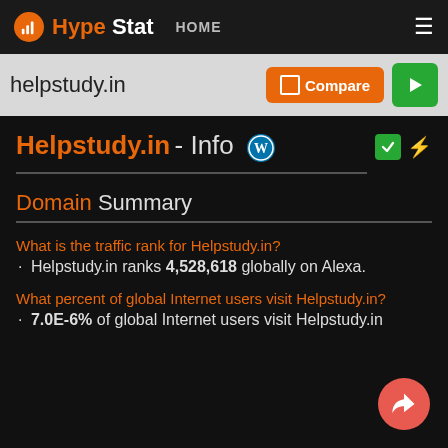HypeStat HOME
helpstudy.in
Helpstudy.in - Info
Domain Summary
What is the traffic rank for Helpstudy.in?
Helpstudy.in ranks 4,528,618 globally on Alexa.
What percent of global Internet users visit Helpstudy.in?
7.0E-6% of global Internet users visit Helpstudy.in